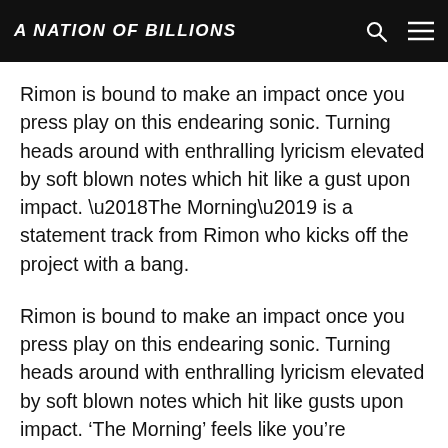A NATION OF BILLIONS
Rimon is bound to make an impact once you press play on this endearing sonic. Turning heads around with enthralling lyricism elevated by soft blown notes which hit like a gust upon impact. ‘The Morning’ is a statement track from Rimon who kicks off the project with a bang.
Rimon is bound to make an impact once you press play on this endearing sonic. Turning heads around with enthralling lyricism elevated by soft blown notes which hit like gusts upon impact. ‘The Morning’ feels like you’re witnessing a live performance, courtesy of the vivid instrumentation composed of vibrating keys and roaring guitar riffs that lean towards Jimi